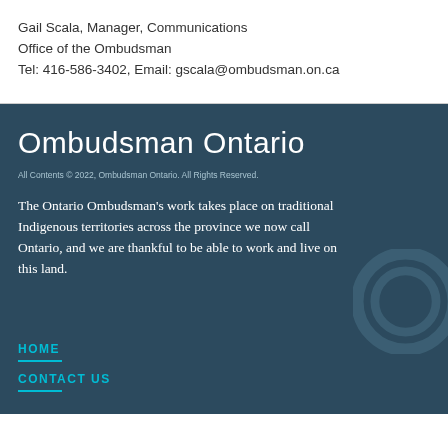Gail Scala, Manager, Communications
Office of the Ombudsman
Tel: 416-586-3402, Email: gscala@ombudsman.on.ca
Ombudsman Ontario
All Contents © 2022, Ombudsman Ontario. All Rights Reserved.
The Ontario Ombudsman's work takes place on traditional Indigenous territories across the province we now call Ontario, and we are thankful to be able to work and live on this land.
HOME
CONTACT US